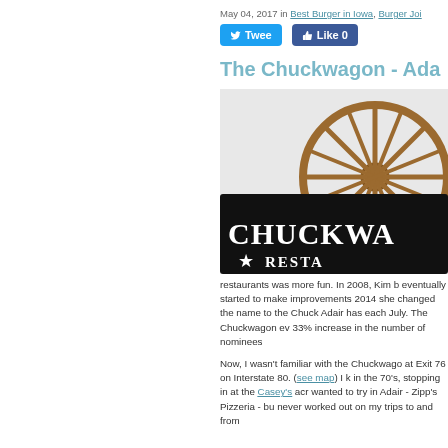May 04, 2017 in Best Burger in Iowa, Burger Joints
[Figure (logo): Chuckwagon Restaurant logo with wagon wheel graphic and black sign reading CHUCKWA... RESTA...]
The Chuckwagon - Ada...
restaurants was more fun. In 2008, Kim b eventually started to make improvements 2014 she changed the name to the Chuck Adair has each July. The Chuckwagon ev 33% increase in the number of nominees
Now, I wasn't familiar with the Chuckwago at Exit 76 on Interstate 80. (see map) I k in the 70's, stopping in at the Casey's acr wanted to try in Adair - Zipp's Pizzeria - bu never worked out on my trips to and from